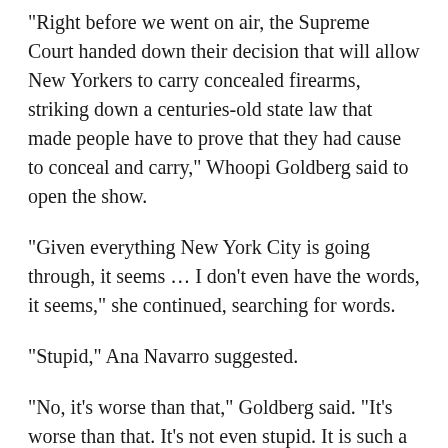“Right before we went on air, the Supreme Court handed down their decision that will allow New Yorkers to carry concealed firearms, striking down a centuries-old state law that made people have to prove that they had cause to conceal and carry,” Whoopi Goldberg said to open the show.
“Given everything New York City is going through, it seems … I don’t even have the words, it seems,” she continued, searching for words.
“Stupid,” Ana Navarro suggested.
“No, it’s worse than that,” Goldberg said. “It’s worse than that. It’s not even stupid. It is such a middle finger to New York. It’s a middle finger to New York because we have been trying to figure out how to get a handle on